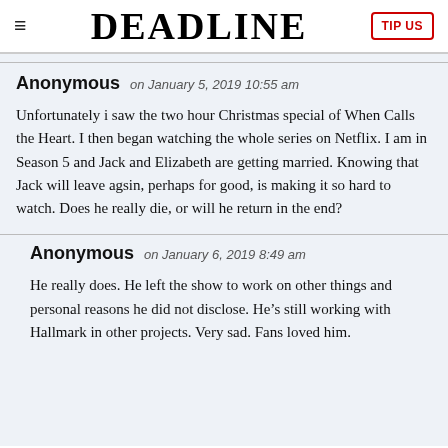DEADLINE
Anonymous on January 5, 2019 10:55 am

Unfortunately i saw the two hour Christmas special of When Calls the Heart. I then began watching the whole series on Netflix. I am in Season 5 and Jack and Elizabeth are getting married. Knowing that Jack will leave agsin, perhaps for good, is making it so hard to watch. Does he really die, or will he return in the end?
Anonymous on January 6, 2019 8:49 am

He really does. He left the show to work on other things and personal reasons he did not disclose. He’s still working with Hallmark in other projects. Very sad. Fans loved him.